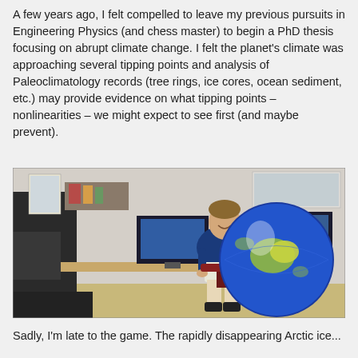A few years ago, I felt compelled to leave my previous pursuits in Engineering Physics (and chess master) to begin a PhD thesis focusing on abrupt climate change. I felt the planet's climate was approaching several tipping points and analysis of Paleoclimatology records (tree rings, ice cores, ocean sediment, etc.) may provide evidence on what tipping points – nonlinearities – we might expect to see first (and maybe prevent).
[Figure (photo): A man in a blue t-shirt and white shorts sits in an office chair at a desk with computers and monitors. To his right is a very large inflatable globe showing Australia and the surrounding region. The office has maps and posters on the walls, and various equipment.]
Sadly, I'm late to the game. The rapidly disappearing Arctic ice...